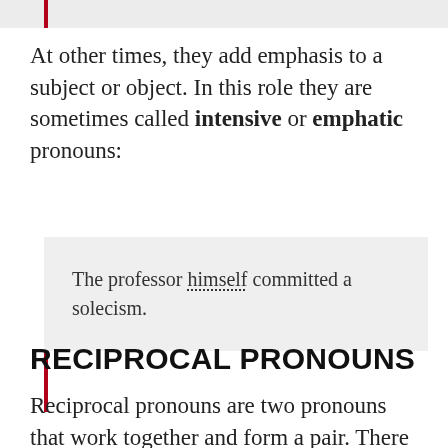At other times, they add emphasis to a subject or object. In this role they are sometimes called intensive or emphatic pronouns:
The professor himself committed a solecism.
RECIPROCAL PRONOUNS
Reciprocal pronouns are two pronouns that work together and form a pair. There are